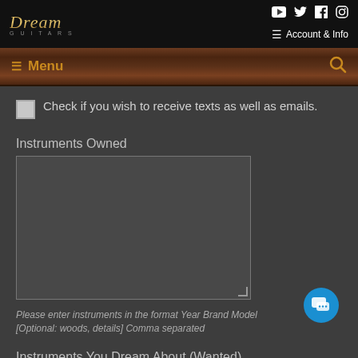Dream Guitars — Account & Info
Menu
Check if you wish to receive texts as well as emails.
Instruments Owned
[Figure (screenshot): Empty textarea input box for entering instruments owned]
Please enter instruments in the format Year Brand Model [Optional: woods, details] Comma separated
Instruments You Dream About (Wanted)